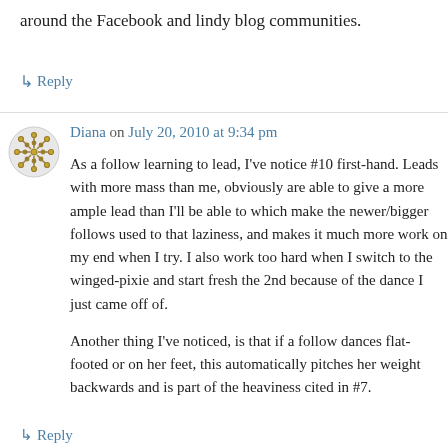around the Facebook and lindy blog communities.
↳ Reply
Diana on July 20, 2010 at 9:34 pm
As a follow learning to lead, I've notice #10 first-hand. Leads with more mass than me, obviously are able to give a more ample lead than I'll be able to which make the newer/bigger follows used to that laziness, and makes it much more work on my end when I try. I also work too hard when I switch to the winged-pixie and start fresh the 2nd because of the dance I just came off of.
Another thing I've noticed, is that if a follow dances flat-footed or on her feet, this automatically pitches her weight backwards and is part of the heaviness cited in #7.
↳ Reply